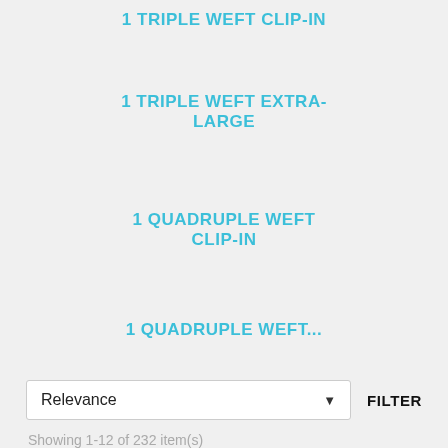1 TRIPLE WEFT CLIP-IN
1 TRIPLE WEFT EXTRA-LARGE
1 QUADRUPLE WEFT CLIP-IN
1 QUADRUPLE WEFT...
Relevance ▼    FILTER
Showing 1-12 of 232 item(s)